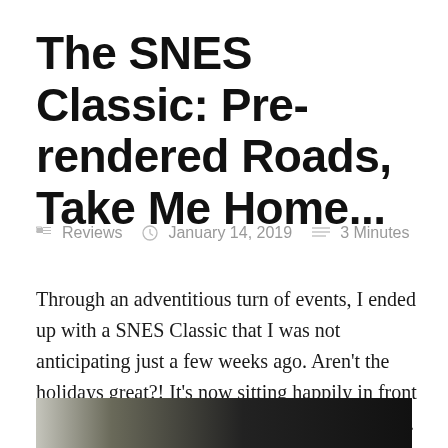The SNES Classic: Pre-rendered Roads, Take Me Home...
Reviews   January 14, 2019   3 Minutes
Through an adventitious turn of events, I ended up with a SNES Classic that I was not anticipating just a few weeks ago. Aren't the holidays great?! It's now sitting happily in front of our TV, next to the Switch dock and the Wii. It's so tiny!!
[Figure (photo): A partially visible photo of the SNES Classic, showing the top edge with some text/cartridge visible against a dark background.]